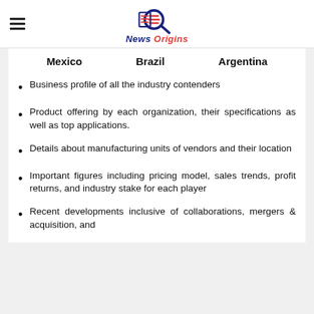News Origins
Mexico   Brazil   Argentina
Business profile of all the industry contenders
Product offering by each organization, their specifications as well as top applications.
Details about manufacturing units of vendors and their location
Important figures including pricing model, sales trends, profit returns, and industry stake for each player
Recent developments inclusive of collaborations, mergers & acquisition, and